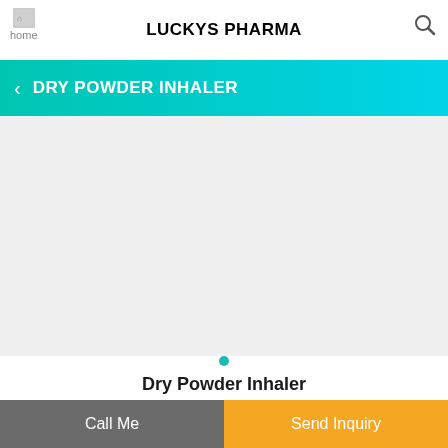LUCKYS PHARMA
DRY POWDER INHALER
[Figure (photo): Product image area for Dry Powder Inhaler — light gray placeholder]
Dry Powder Inhaler
Price And Quantity
Call Me
Send Inquiry